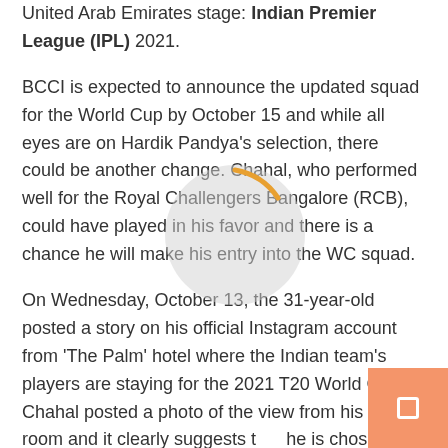United Arab Emirates stage: Indian Premier League (IPL) 2021.
BCCI is expected to announce the updated squad for the World Cup by October 15 and while all eyes are on Hardik Pandya's selection, there could be another change. Chahal, who performed well for the Royal Challengers Bangalore (RCB), could have played in his favor and there is a chance he will make his entry into the WC squad.
On Wednesday, October 13, the 31-year-old posted a story on his official Instagram account from 'The Palm' hotel where the Indian team's players are staying for the 2021 T20 World Cup. Chahal posted a photo of the view from his hotel room and it clearly suggests that he is chosen for the mega event.